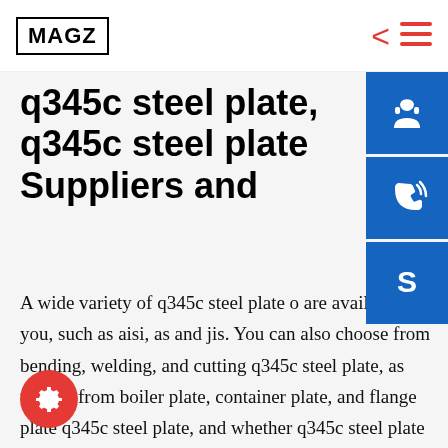MAGZ
q345c steel plate, q345c steel plate Suppliers and
[Figure (infographic): Three blue square icon buttons on the right side: customer support (headset icon), phone (phone with signal waves icon), and Skype (S letter icon)]
A wide variety of q345c steel plate options are available to you, such as aisi, as and jis. You can also choose from bending, welding, and cutting q345c steel plate, as well as from boiler plate, container plate, and flange plate q345c steel plate, and whether q345c steel plate is galvanized, or coated.hot rolled q345d building in stock – Weathering Steel
[Figure (illustration): Red circular FAB button with a gear/settings icon in white]